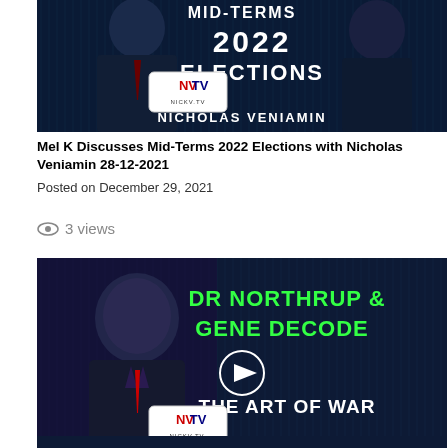[Figure (screenshot): NVTV NickV.TV Mid-Terms 2022 Elections thumbnail with Nicholas Veniamin and a female co-host on a dark blue digital background]
Mel K Discusses Mid-Terms 2022 Elections with Nicholas Veniamin 28-12-2021
Posted on December 29, 2021
3 views
[Figure (screenshot): NVTV NickV.TV thumbnail featuring Dr Northrup & Gene Decode - The Art of War, with a male host on a dark blue digital background]